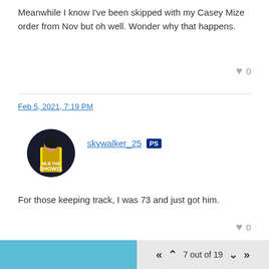Meanwhile I know I've been skipped with my Casey Mize order from Nov but oh well. Wonder why that happens.
♥ 0
Feb 5, 2021, 7:19 PM
[Figure (photo): Circular avatar showing MLB The Show 21 game cover art with a baseball player]
skywalker_25 [PS icon]
For those keeping track, I was 73 and just got him.
♥ 0
Feb 5, 2021, 8:31 PM [edit icon]
7 out of 19